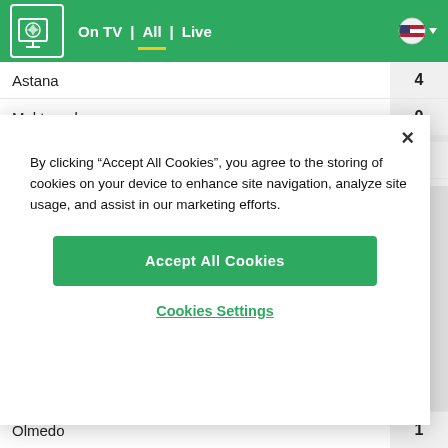On TV | All | Live
| Team | Score |
| --- | --- |
| Astana | 4 |
| Maktaaral | 0 |
| Aksu | 1 |
| FC Kyzyl-Zhar SK | 0 |
By clicking “Accept All Cookies”, you agree to the storing of cookies on your device to enhance site navigation, analyze site usage, and assist in our marketing efforts.
Accept All Cookies
Cookies Settings
| Team | Score |
| --- | --- |
| Olmedo | 1 |